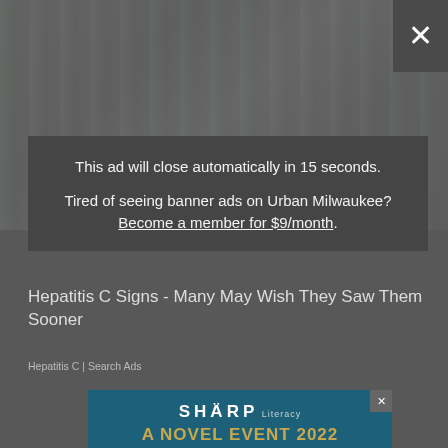[Figure (screenshot): Dimmed webpage background with blurred medical image at top showing hands]
[Figure (screenshot): Close button (X) in top-right corner, dark gray square]
This ad will close automatically in 15 seconds.
Tired of seeing banner ads on Urban Milwaukee? Become a member for $9/month.
Hepatitis C Signs - Many May Wish They Saw Them Sooner
[Figure (screenshot): SHARP Literacy advertisement: A NOVEL EVENT 2022 with Corbin Burnes, Taylor Rogers & Brent Suter. September 15, 5-8PM, American Family Field. novel22.givesmart.com. Presented by Brewers Community Foundation. Dark teal background.]